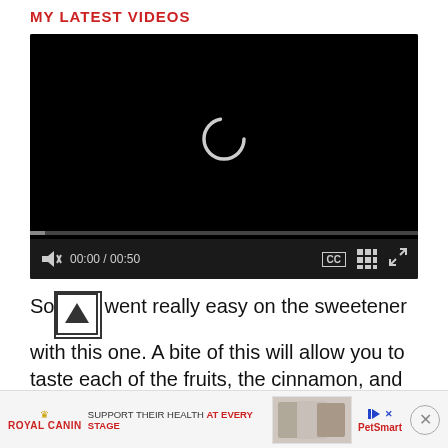MY LATEST VIDEOS
[Figure (screenshot): Video player showing a black screen with a loading spinner (circular arc) and video controls bar at bottom: mute icon with X, timestamp 00:00 / 00:50, CC button, grid button, and expand button.]
So I went really easy on the sweetener with this one. A bite of this will allow you to taste each of the fruits, the cinnamon, and the delicious nutty crust. It’s perfect with coffe
[Figure (screenshot): Advertisement banner: Royal Canin logo with crown, tagline 'SUPPORT THEIR HEALTH AT EVERY STAGE', cat food product images, PetSmart logo, play/skip button, X close button.]